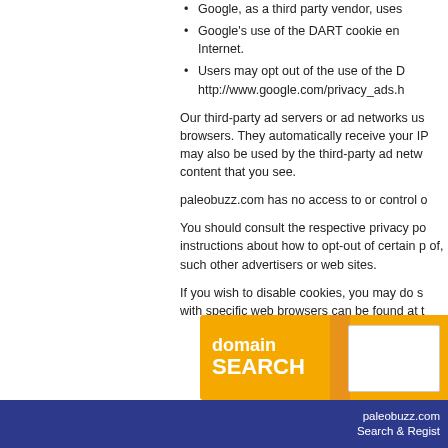Google, as a third party vendor, uses
Google's use of the DART cookie en Internet.
Users may opt out of the use of the D http://www.google.com/privacy_ads.h
Our third-party ad servers or ad networks us browsers. They automatically receive your IP may also be used by the third-party ad netw content that you see.
paleobuzz.com has no access to or control o
You should consult the respective privacy po instructions about how to opt-out of certain p of, such other advertisers or web sites.
If you wish to disable cookies, you may do s with specific web browsers can be found at t
[Figure (infographic): Domain Search banner with yellow/orange background, bold white text reading 'domain SEARCH' on the left, and a white input box on the right.]
paleobuzz.com   Search & Regist